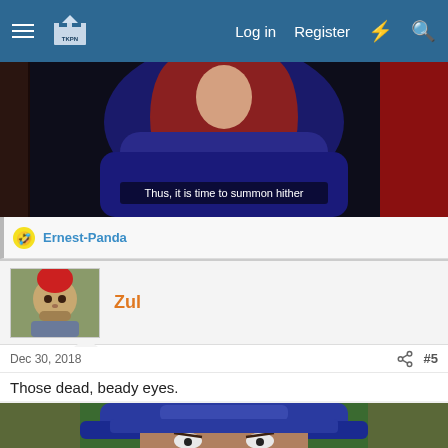Log in  Register
[Figure (screenshot): Game screenshot showing an animated character scene with text caption: 'Thus, it is time to summon hither']
Ernest-Panda
Zul
Dec 30, 2018  #5
Those dead, beady eyes.
[Figure (screenshot): Close-up of an animated character face with a large blue hat and narrow, menacing eyes — visible from top of head to just below eyes]